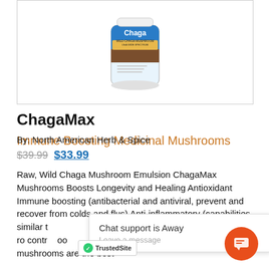[Figure (photo): ChagaMax product bottle — Wild Chaga Mushroom dietary supplement, blue and brown label, white cap, shown partially cropped inside a bordered image box]
ChagaMax  Immune Boosting Medicinal Mushrooms
By: North American Herb & Spice
$39.99  $33.99
Raw, Wild Chaga Mushroom Emulsion ChagaMax Mushrooms Boosts Longevity and Healing Antioxidant Immune boosting (antibacterial and antiviral, prevent and recover from colds and flus) Anti-inflammatory (capabilities similar t... ...ative effects) Improves ca... ...ro... contr... ...oo... ...l sug... Deta... ...May Chaga mushrooms are the best...
[Figure (screenshot): Chat support popup: 'Chat support is Away' with 'Leave a message' subtext, overlaid on the product description area. Includes TrustedSite badge at bottom left and orange chat button at bottom right.]